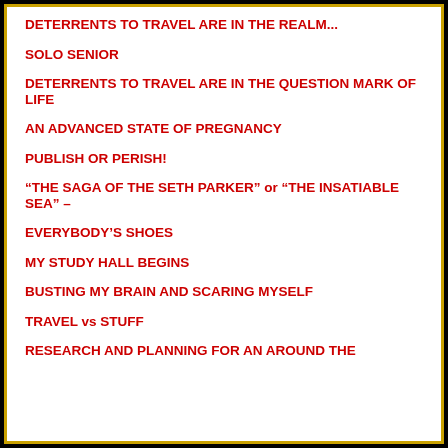DETERRENTS TO TRAVEL ARE IN THE REALM...
SOLO SENIOR
DETERRENTS TO TRAVEL ARE IN THE QUESTION MARK OF LIFE
AN ADVANCED STATE OF PREGNANCY
PUBLISH OR PERISH!
“THE SAGA OF THE SETH PARKER” or “THE INSATIABLE SEA” –
EVERYBODY’S SHOES
MY STUDY HALL BEGINS
BUSTING MY BRAIN AND SCARING MYSELF
TRAVEL vs STUFF
RESEARCH AND PLANNING FOR AN AROUND THE